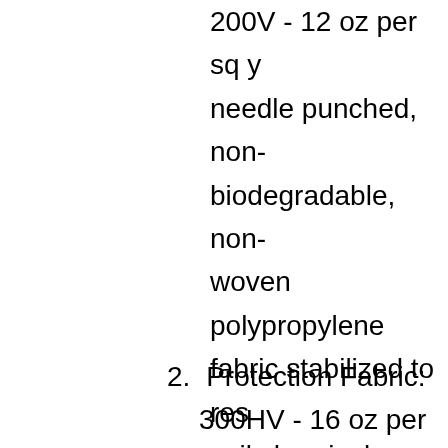200V - 12 oz per sq y needle punched, non-biodegradable, non-woven polypropylene fabric stabilized to res soil chemicals, mildew and insects.
2.  Protection Fabric: 300HV - 16 oz per sq